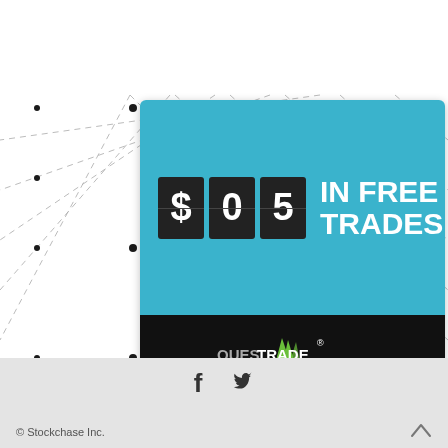[Figure (advertisement): Questrade advertisement banner showing '$05 IN FREE TRADES' with flip-tile style digits on a teal background and Questrade logo on black footer bar]
[Figure (infographic): Social media icons: Facebook (f) and Twitter (bird) icons]
© Stockchase Inc.